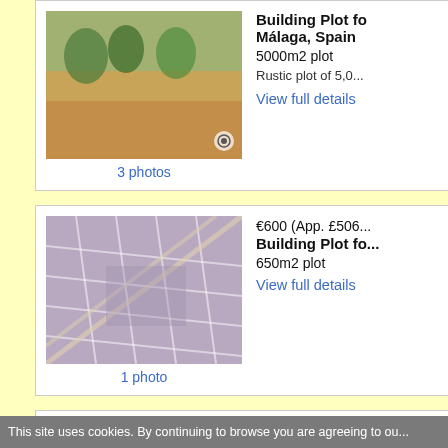[Figure (photo): Thumbnail photo of a rustic building plot, landscape with trees and dry ground]
3 photos
Building Plot fo...
Málaga, Spain
5000m2 plot
Rustic plot of 5,0...
View full details
[Figure (photo): Aerial view of a building plot with grid street pattern]
1 photo
€600 (App. £506...
Building Plot fo...
650m2 plot
View full details
[Figure (photo): Aerial view of a building plot with roads and structures]
1 photo
€150 (App. £126...
Building Plot fo...
5500m2 plot
View full details
This site uses cookies. By continuing to browse you are agreeing to ou...